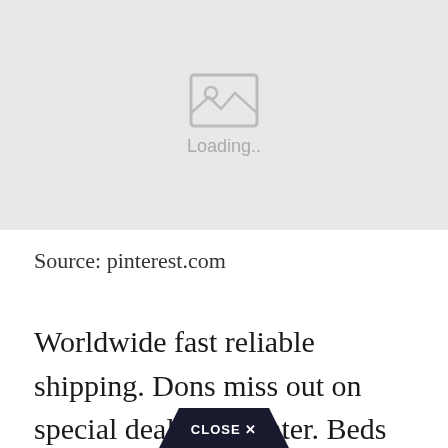[Figure (other): Image placeholder with a mountain/photo icon and 'Loading..' text on a light gray background]
Source: pinterest.com
Worldwide fast reliable shipping. Dons miss out on special deals for winter. Beds Cabinets Wardrobes Mirrors Other Accessories. Annons Wide Range Of Beds Bedroom Furniture. Dons miss out on special deals for winter.